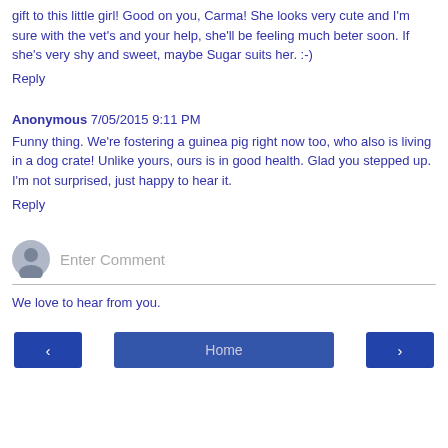gift to this little girl! Good on you, Carma! She looks very cute and I'm sure with the vet's and your help, she'll be feeling much beter soon. If she's very shy and sweet, maybe Sugar suits her. :-)
Reply
Anonymous 7/05/2015 9:11 PM
Funny thing. We're fostering a guinea pig right now too, who also is living in a dog crate! Unlike yours, ours is in good health. Glad you stepped up. I'm not surprised, just happy to hear it.
Reply
Enter Comment
We love to hear from you.